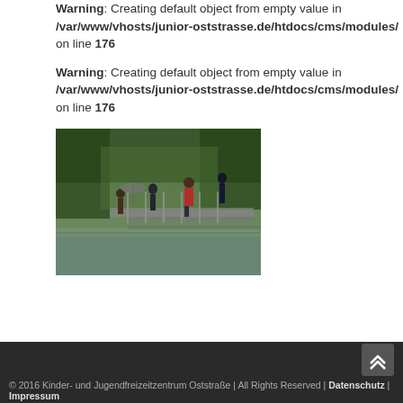Warning: Creating default object from empty value in /var/www/vhosts/junior-oststrasse.de/htdocs/cms/modules/ on line 176
Warning: Creating default object from empty value in /var/www/vhosts/junior-oststrasse.de/htdocs/cms/modules/ on line 176
[Figure (photo): Outdoor photo showing children playing on a structure near water, surrounded by green trees.]
© 2016 Kinder- und Jugendfreizeitzentrum Oststraße | All Rights Reserved | Datenschutz | Impressum